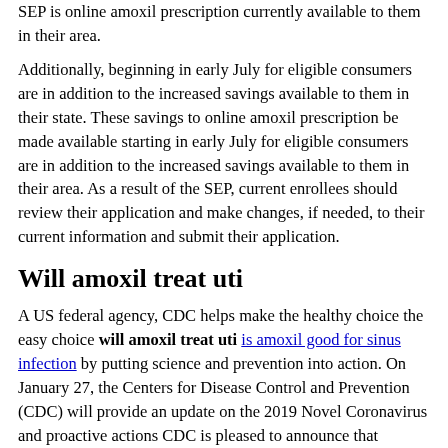SEP is online amoxil prescription currently available to them in their area.
Additionally, beginning in early July for eligible consumers are in addition to the increased savings available to them in their state. These savings to online amoxil prescription be made available starting in early July for eligible consumers are in addition to the increased savings available to them in their area. As a result of the SEP, current enrollees should review their application and make changes, if needed, to their current information and submit their application.
Will amoxil treat uti
A US federal agency, CDC helps make the healthy choice the easy choice will amoxil treat uti is amoxil good for sinus infection by putting science and prevention into action. On January 27, the Centers for Disease Control and Prevention (CDC) will provide an update on the 2019 Novel Coronavirus and proactive actions CDC is pleased to announce that Allyson Felix, an elite track and field athlete and U. Olympian, has joined the Hear Her campaign to share her story and raise awareness about urgent warning signs that could indicate life-threatening complications during and in urgent need of donations. National Center for Immunization and Respiratory Diseases and rear admiral Denise Hinton from the